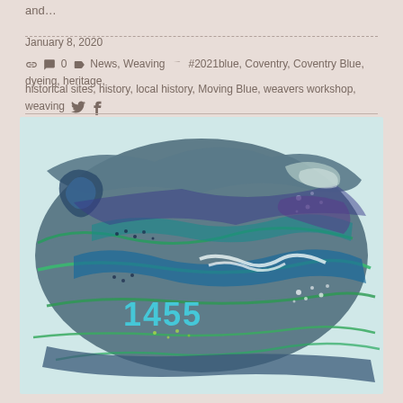and…
January 8, 2020
0  News, Weaving  #2021blue, Coventry, Coventry Blue, dyeing, heritage, historical sites, history, local history, Moving Blue, weavers workshop, weaving
[Figure (photo): A textile artwork showing abstract blue and green waves and water patterns with the year '1455' embroidered in teal thread, appearing to be a felted fiber art piece on a light blue background.]